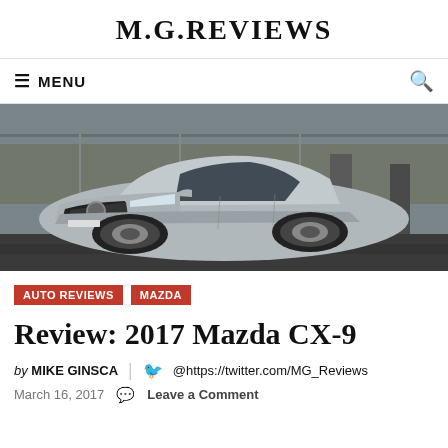M.G.REVIEWS
≡ MENU
[Figure (photo): Silver Mazda CX-9 SUV parked in front of a building with columns and concrete structures, overcast winter setting]
AUTO REVIEWS   MAZDA
Review: 2017 Mazda CX-9
by MIKE GINSCA | @https://twitter.com/MG_Reviews
March 16, 2017   Leave a Comment